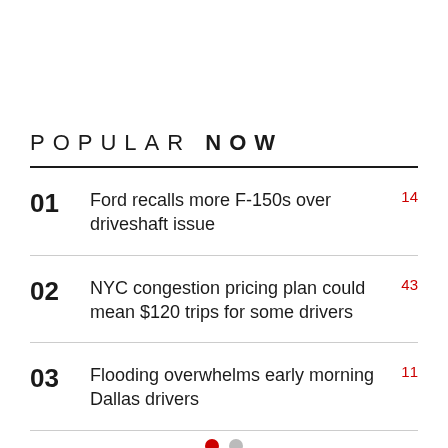POPULAR NOW
01  Ford recalls more F-150s over driveshaft issue  14
02  NYC congestion pricing plan could mean $120 trips for some drivers  43
03  Flooding overwhelms early morning Dallas drivers  11